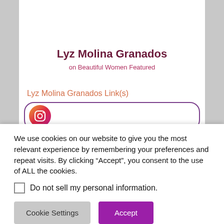[Figure (logo): Cursive script logo in purple/magenta color, partially visible at top]
Lyz Molina Granados
on Beautiful Women Featured
Lyz Molina Granados Link(s)
[Figure (screenshot): Instagram link button with rounded border and Instagram icon]
We use cookies on our website to give you the most relevant experience by remembering your preferences and repeat visits. By clicking “Accept”, you consent to the use of ALL the cookies.
Do not sell my personal information.
Cookie Settings
Accept